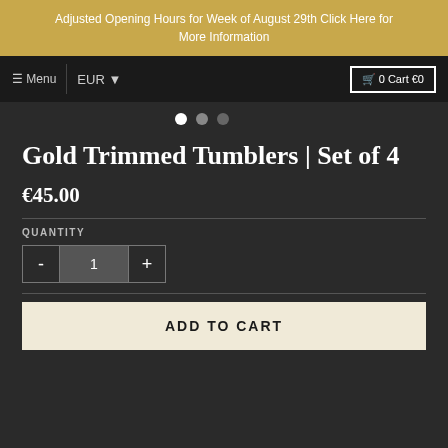Adjusted Opening Hours for Week of August 29th Click Here for More Information
≡ Menu  EUR ▾  🛒 0 Cart €0
[Figure (other): Carousel slider navigation dots: three circles (white, medium gray, dark gray)]
Gold Trimmed Tumblers | Set of 4
€45.00
QUANTITY
- 1 +
ADD TO CART